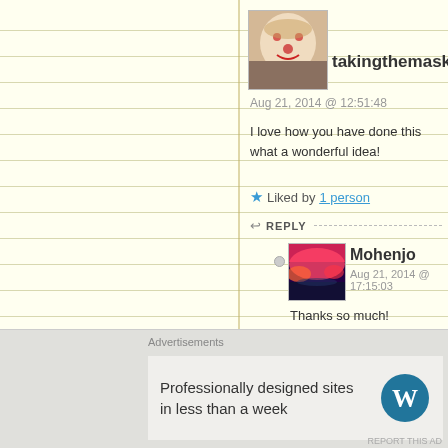[Figure (screenshot): Avatar image of a person with clown face paint, white face with red markings]
takingthemaskoff
Aug 21, 2014 @ 12:51:48
I love how you have done this what a wonderful idea!
★ Liked by 1 person
↩ REPLY
[Figure (photo): Avatar image showing a sunset over water with pink/red sky]
Mohenjo
Aug 21, 2014 @ 17:15:03
Thanks so much!
★ Like
↩ REPLY
[Figure (photo): Partial avatar image visible at bottom of page, similar sunset photo]
Advertisements
Professionally designed sites in less than a week
[Figure (logo): WordPress logo - W in a circle]